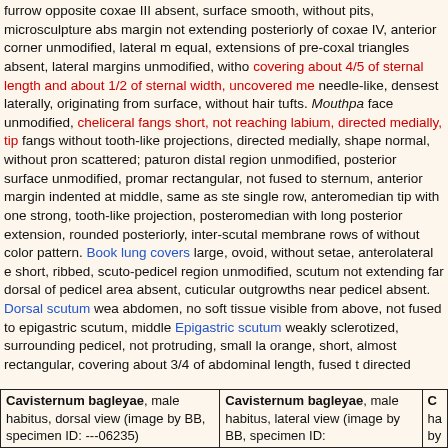furrow opposite coxae III absent, surface smooth, without pits, microsculpture abs margin not extending posteriorly of coxae IV, anterior corner unmodified, lateral m equal, extensions of pre-coxal triangles absent, lateral margins unmodified, witho covering about 4/5 of sternal length and about 1/2 of sternal width, uncovered me needle-like, densest laterally, originating from surface, without hair tufts. Mouthpa face unmodified, cheliceral fangs short, not reaching labium, directed medially, tip fangs without tooth-like projections, directed medially, shape normal, without pron scattered; paturon distal region unmodified, posterior surface unmodified, promar rectangular, not fused to sternum, anterior margin indented at middle, same as ste single row, anteromedian tip with one strong, tooth-like projection, posteromedian with long posterior extension, rounded posteriorly, inter-scutal membrane rows of without color pattern. Book lung covers large, ovoid, without setae, anterolateral e short, ribbed, scuto-pedicel region unmodified, scutum not extending far dorsal of pedicel area absent, cuticular outgrowths near pedicel absent. Dorsal scutum wea abdomen, no soft tissue visible from above, not fused to epigastric scutum, middle Epigastric scutum weakly sclerotized, surrounding pedicel, not protruding, small la orange, short, almost rectangular, covering about 3/4 of abdominal length, fused t directed lateral apodemes. Spinneret scutum present, incomplete ring. Supra-ana setae uniform, light, needle-like. Postepigastric area setae present, light, needle-li anterior to spinnerets absent. Interscutal membrane with setae. Colulus represent thickened, same size as femora I-III, patella plus tibia I shorter than carapace, tibi ventral scopula absent, metatarsi I and II meso-apical comb absent, metatarsi III a examined in detail. Tarsi I to IV without inferior claw. Trichobothria not examined. of anterior spiracles, unmodified; furrow without omega-shaped insertions, withou symmetrical, proximal segments yellow; embolus dark, prolateral excavation abse base retro- and prolaterally; trochanter normal size, unmodified; femur normal siz lateral dilation, attaching to patella basally; patella about as long as femur, not enl not examined; cymbium yellow, ovoid in dorsal view, completely fused with bulb, r absent, without stout setae, without distal patch of setae; bulb yellow, 1 to 1.5 time
| Cavisternum bagleyae, male habitus, dorsal view (image by BB, specimen ID: ---06235) | Cavisternum bagleyae, male habitus, lateral view (image by BB, specimen ID: | C ha by |
| --- | --- | --- |